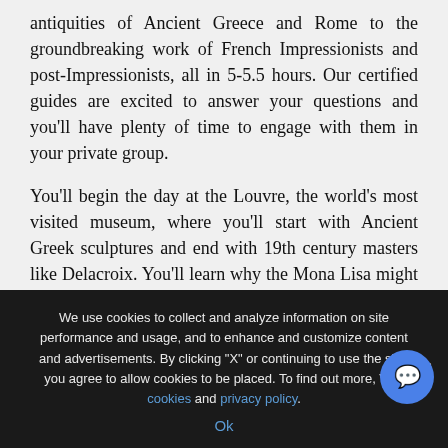antiquities of Ancient Greece and Rome to the groundbreaking work of French Impressionists and post-Impressionists, all in 5-5.5 hours. Our certified guides are excited to answer your questions and you'll have plenty of time to engage with them in your private group.
You'll begin the day at the Louvre, the world's most visited museum, where you'll start with Ancient Greek sculptures and end with 19th century masters like Delacroix. You'll learn why the Mona Lisa might be smiling, why the Venus de Milo has no arms and how the Winged Victory of Samothrace is connected to a certain sneaker brand.
We use cookies to collect and analyze information on site performance and usage, and to enhance and customize content and advertisements. By clicking "X" or continuing to use the site, you agree to allow cookies to be placed. To find out more, Vi cookies and privacy policy.
Ok